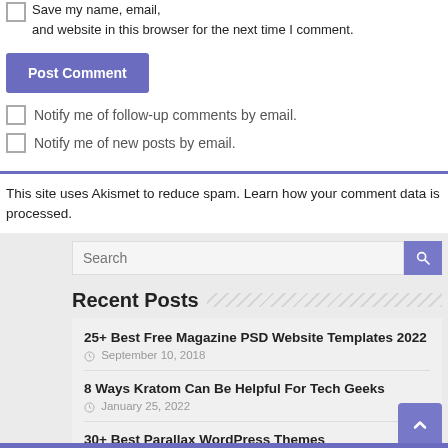Save my name, email, and website in this browser for the next time I comment.
Post Comment
Notify me of follow-up comments by email.
Notify me of new posts by email.
This site uses Akismet to reduce spam. Learn how your comment data is processed.
Recent Posts
25+ Best Free Magazine PSD Website Templates 2022
September 10, 2018
8 Ways Kratom Can Be Helpful For Tech Geeks
January 25, 2022
30+ Best Parallax WordPress Themes